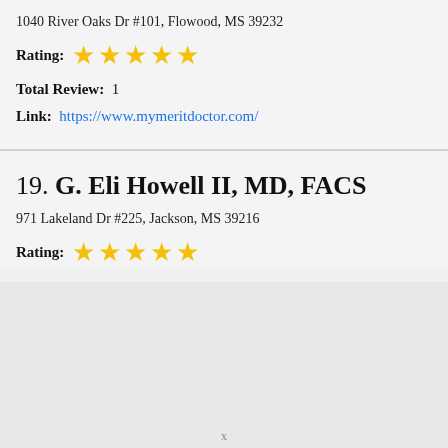1040 River Oaks Dr #101, Flowood, MS 39232
Rating: ★★★★★
Total Review:  1
Link:  https://www.mymeritdoctor.com/
19. G. Eli Howell II, MD, FACS
971 Lakeland Dr #225, Jackson, MS 39216
Rating: ★★★★★
x